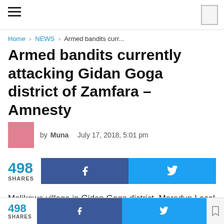Navigation bar with hamburger menu and bookmark icon
Home › NEWS › Armed bandits curr...
Armed bandits currently attacking Gidan Goga district of Zamfara – Amnesty
by Muna   July 17, 2018, 5:01 pm
498 SHARES [Facebook share button] [Twitter share button]
Malikawa village in Gidan Goga district, Maradun Local Government of Zamfara state is alleged to be under
498 SHARES [Facebook share button] [Twitter share button]